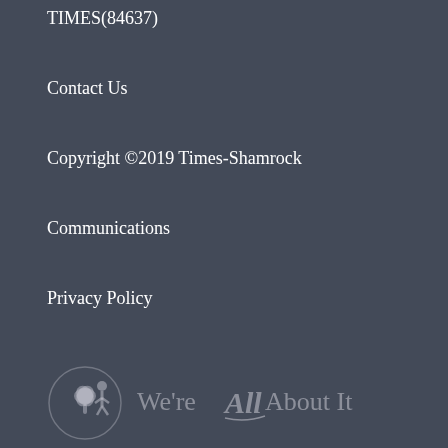TIMES(84637)
Contact Us
Copyright ©2019 Times-Shamrock
Communications
Privacy Policy
[Figure (logo): Times-Shamrock 'We're All About It' logo with shamrock icon, rendered in muted white/grey on dark background]